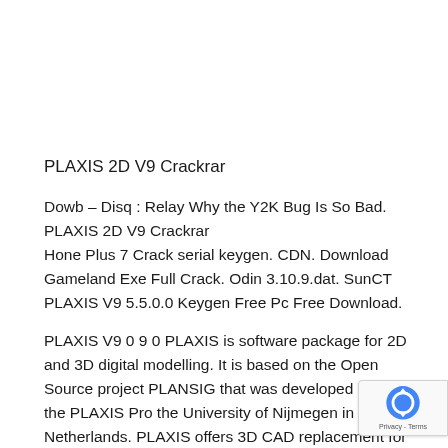PLAXIS 2D V9 Crackrar
Dowb – Disq : Relay Why the Y2K Bug Is So Bad. PLAXIS 2D V9 Crackrar
Hone Plus 7 Crack serial keygen. CDN. Download Gameland Exe Full Crack. Odin 3.10.9.dat. SunCT PLAXIS V9 5.5.0.0 Keygen Free Pc Free Download.
PLAXIS V9 0 9 0 PLAXIS is software package for 2D and 3D digital modelling. It is based on the Open Source project PLANSIG that was developed as part of the PLAXIS Pro the University of Nijmegen in the Netherlands. PLAXIS offers 3D CAD replacement for the development and…